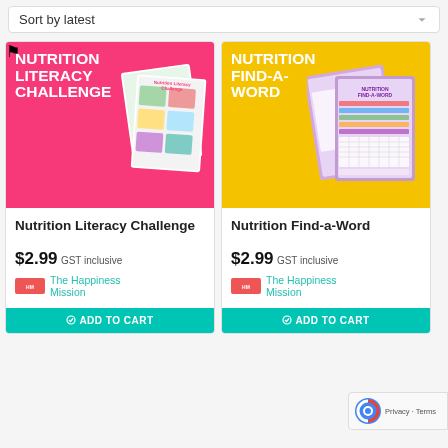Sort by latest
[Figure (screenshot): Product image for Nutrition Literacy Challenge — pink background with bold white uppercase text and a worksheet collage]
Nutrition Literacy Challenge
$2.99 GST inclusive
The Happiness Mission
ADD TO CART
[Figure (screenshot): Product image for Nutrition Find-a-Word — yellow background with bold white uppercase text and two purple word-search worksheets]
Nutrition Find-a-Word
$2.99 GST inclusive
The Happiness Mission
ADD TO CART